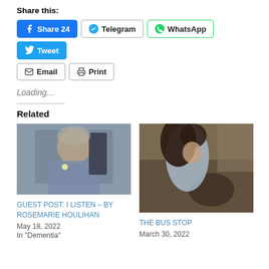Share this:
Facebook Share 24 | Telegram | WhatsApp | Tweet | Email | Print
Loading...
Related
[Figure (photo): Elderly woman in a blue jacket with a flower corsage, seated, looking slightly to the side.]
GUEST POST: I LISTEN – BY ROSEMARIE HOULIHAN
May 18, 2022
In "Dementia"
[Figure (photo): Young woman with long dark hair leaning over machinery or equipment, wearing a light blue top.]
THE BUS STOP
March 30, 2022